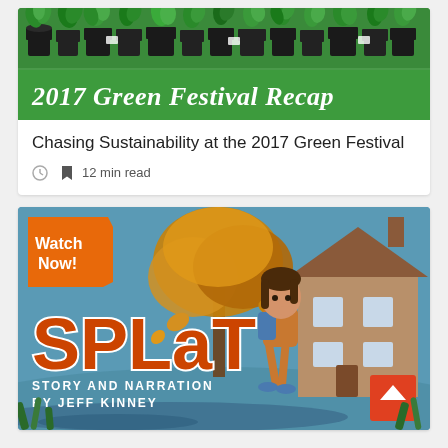[Figure (photo): Photo of potted plant seedlings in black containers on a green background with white cursive text reading '2017 Green Festival Recap']
Chasing Sustainability at the 2017 Green Festival
12 min read
[Figure (illustration): Illustrated promotional image for 'SPLAT - Story and Narration by Jeff Kinney' with a cartoon girl running, autumn trees, a house, and an orange 'Watch Now!' badge in the top left corner]